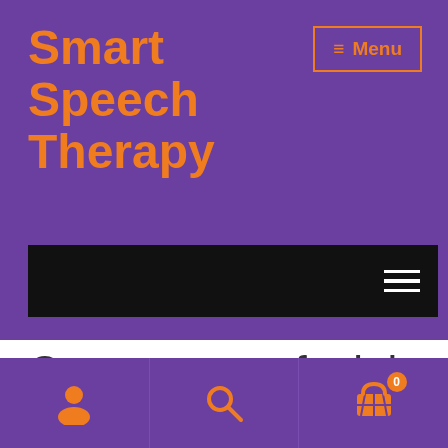Smart Speech Therapy
≡ Menu
[Figure (screenshot): Black navigation bar with white hamburger menu icon on the right]
Category: orofacial assessment
User icon, Search icon, Cart icon with badge 0